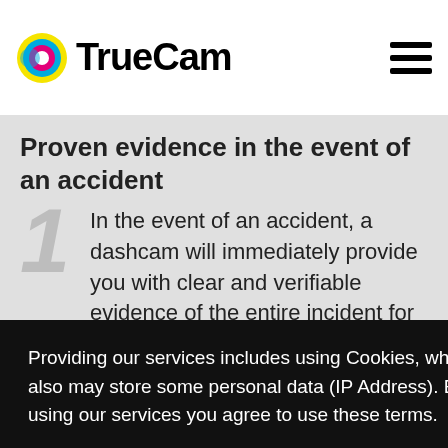Why a TrueCam dashcam? TrueCam [logo]
Proven evidence in the event of an accident
1 In the event of an accident, a dashcam will immediately provide you with clear and verifiable evidence of the entire incident for both the police and the
Providing our services includes using Cookies, which also may store some personal data (IP Address). By using our services you agree to use these terms.

More information
I understand